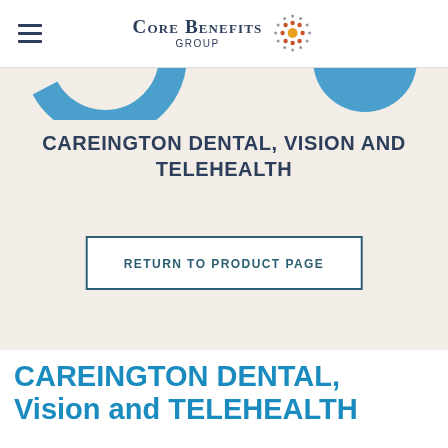Core Benefits Group
[Figure (illustration): Partial blue arc/circle graphics visible at top of hero section]
CAREINGTON DENTAL, VISION AND TELEHEALTH
RETURN TO PRODUCT PAGE
CAREINGTON DENTAL, Vision and TELEHEALTH